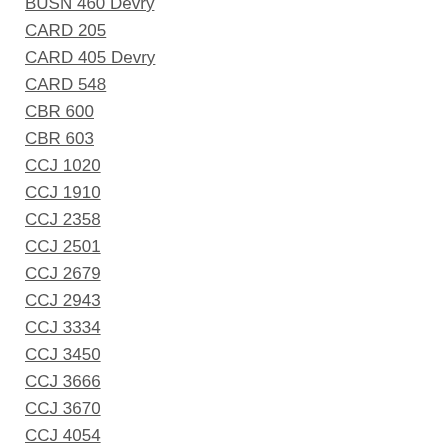BUSN 460 Devry
CARD 205
CARD 405 Devry
CARD 548
CBR 600
CBR 603
CCJ 1020
CCJ 1910
CCJ 2358
CCJ 2501
CCJ 2679
CCJ 2943
CCJ 3334
CCJ 3450
CCJ 3666
CCJ 3670
CCJ 4054
CCJ 4127